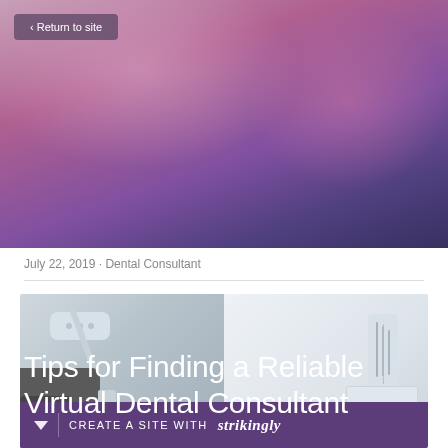[Figure (other): Purple-pink gradient hero banner background with radial highlights, for a dental blog post header]
< Return to site
Tips for Finding a Reliable Virtual Dental Consultant
July 22, 2019 · Dental Consultant
[Figure (photo): Two dental office photos side by side: left shows a dental chair and overhead lamp, right shows dental tools hanging on a cabinet]
CREATE A SITE WITH strikingly